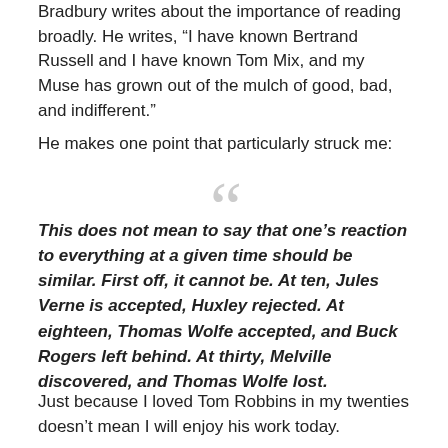Bradbury writes about the importance of reading broadly. He writes, “I have known Bertrand Russell and I have known Tom Mix, and my Muse has grown out of the mulch of good, bad, and indifferent.”
He makes one point that particularly struck me:
““
This does not mean to say that one’s reaction to everything at a given time should be similar. First off, it cannot be. At ten, Jules Verne is accepted, Huxley rejected. At eighteen, Thomas Wolfe accepted, and Buck Rogers left behind. At thirty, Melville discovered, and Thomas Wolfe lost.
Just because I loved Tom Robbins in my twenties doesn’t mean I will enjoy his work today.